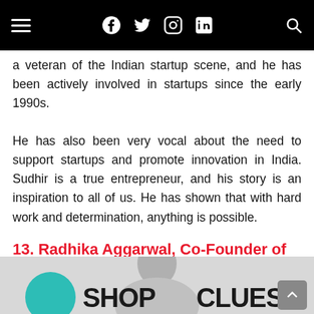Navigation bar with hamburger menu, Facebook, Twitter, Instagram, LinkedIn icons, and search icon
a veteran of the Indian startup scene, and he has been actively involved in startups since the early 1990s.
He has also been very vocal about the need to support startups and promote innovation in India. Sudhir is a true entrepreneur, and his story is an inspiration to all of us. He has shown that with hard work and determination, anything is possible.
13. Radhika Aggarwal, Co-Founder of ShopClues
[Figure (photo): Photo of Radhika Aggarwal with ShopClues logo in the background]